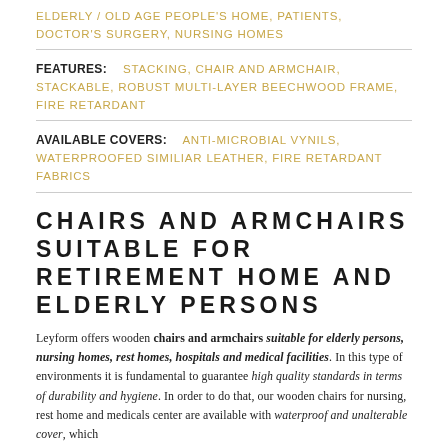ELDERLY / OLD AGE PEOPLE'S HOME, PATIENTS, DOCTOR'S SURGERY, NURSING HOMES
FEATURES: STACKING, CHAIR AND ARMCHAIR, STACKABLE, ROBUST MULTI-LAYER BEECHWOOD FRAME, FIRE RETARDANT
AVAILABLE COVERS: ANTI-MICROBIAL VYNILS, WATERPROOFED SIMILIAR LEATHER, FIRE RETARDANT FABRICS
CHAIRS AND ARMCHAIRS SUITABLE FOR RETIREMENT HOME AND ELDERLY PERSONS
Leyform offers wooden chairs and armchairs suitable for elderly persons, nursing homes, rest homes, hospitals and medical facilities. In this type of environments it is fundamental to guarantee high quality standards in terms of durability and hygiene. In order to do that, our wooden chairs for nursing, rest home and medicals center are available with waterproof and unalterable cover which